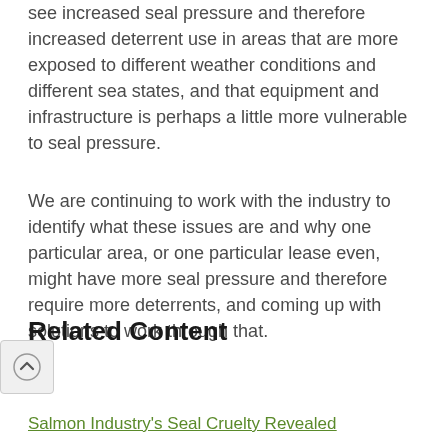see increased seal pressure and therefore increased deterrent use in areas that are more exposed to different weather conditions and different sea states, and that equipment and infrastructure is perhaps a little more vulnerable to seal pressure.
We are continuing to work with the industry to identify what these issues are and why one particular area, or one particular lease even, might have more seal pressure and therefore require more deterrents, and coming up with solutions to work through that.
Related Content
Salmon Industry's Seal Cruelty Revealed